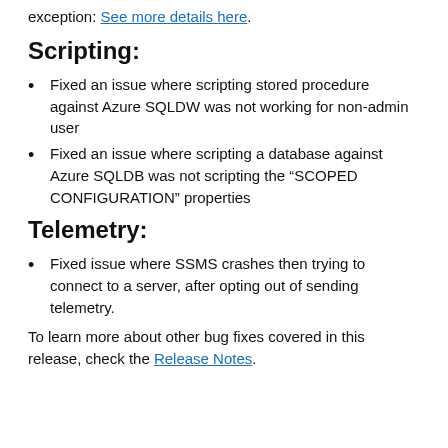exception. See more details here.
Scripting:
Fixed an issue where scripting stored procedure against Azure SQLDW was not working for non-admin user
Fixed an issue where scripting a database against Azure SQLDB was not scripting the “SCOPED CONFIGURATION” properties
Telemetry:
Fixed issue where SSMS crashes then trying to connect to a server, after opting out of sending telemetry.
To learn more about other bug fixes covered in this release, check the Release Notes.